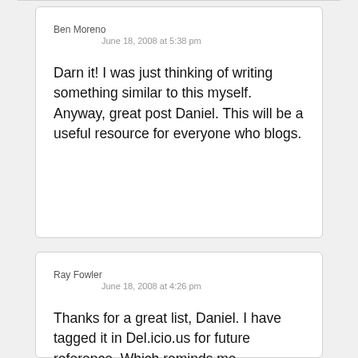Ben Moreno
June 18, 2008 at 5:38 pm
Darn it! I was just thinking of writing something similar to this myself. Anyway, great post Daniel. This will be a useful resource for everyone who blogs.
Ray Fowler
June 18, 2008 at 4:26 pm
Thanks for a great list, Daniel. I have tagged it in Del.icio.us for future reference. Which reminds me – Del.icio.us could